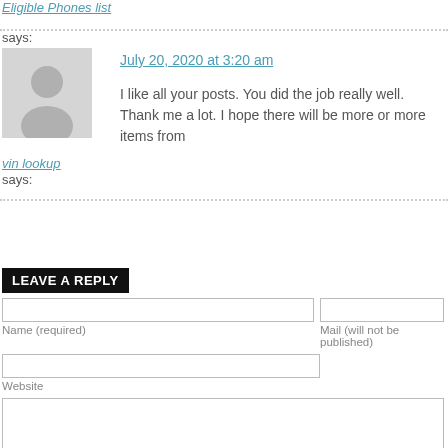Eligible Phones list
says:
[Figure (illustration): Generic user avatar silhouette in gray]
July 20, 2020 at 3:20 am
I like all your posts. You did the job really well. Thank me a lot. I hope there will be more or more items from
vin lookup
says:
LEAVE A REPLY
Name (required)
Mail (will not be published)
Website